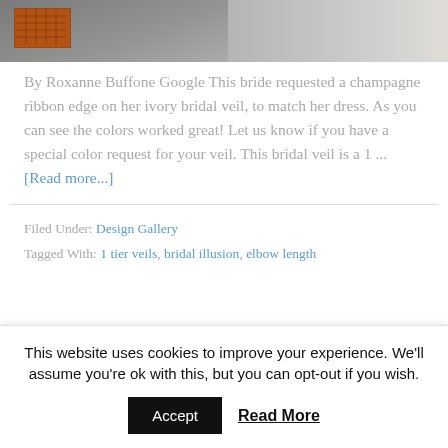[Figure (photo): Top portion of a photo showing what appears to be orange/mesh objects in a grey/industrial setting, cropped at the top of the page]
By Roxanne Buffone Google This bride requested a champagne ribbon edge on her ivory bridal veil, to match her dress. As you can see the colors worked great! Let us know if you have a special color request for your veil. This bridal veil is a 1 ... [Read more...]
Filed Under: Design Gallery
Tagged With: 1 tier veils, bridal illusion, elbow length
This website uses cookies to improve your experience. We'll assume you're ok with this, but you can opt-out if you wish. Accept Read More